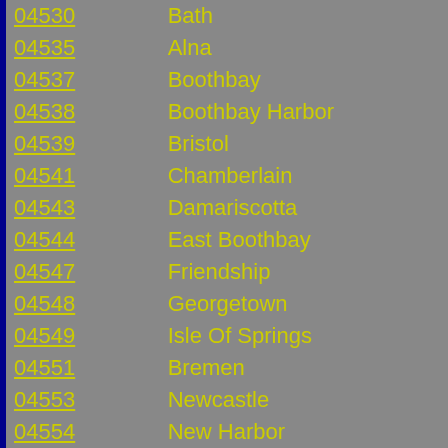| ZIP | City | County |
| --- | --- | --- |
| 04530 | Bath | Sagadahoc |
| 04535 | Alna | Lincoln |
| 04537 | Boothbay | Lincoln |
| 04538 | Boothbay Harbor | Lincoln |
| 04539 | Bristol | Lincoln |
| 04541 | Chamberlain | Lincoln |
| 04543 | Damariscotta | Lincoln |
| 04544 | East Boothbay | Lincoln |
| 04547 | Friendship | Knox |
| 04548 | Georgetown | Sagadahoc |
| 04549 | Isle Of Springs | Lincoln |
| 04551 | Bremen | Lincoln |
| 04553 | Newcastle | Lincoln |
| 04554 | New Harbor | Lincoln |
| 04555 | Nobleboro | Lincoln |
| 04556 | Edgecomb | Lincoln |
| 04558 | Pemaquid | Lincoln |